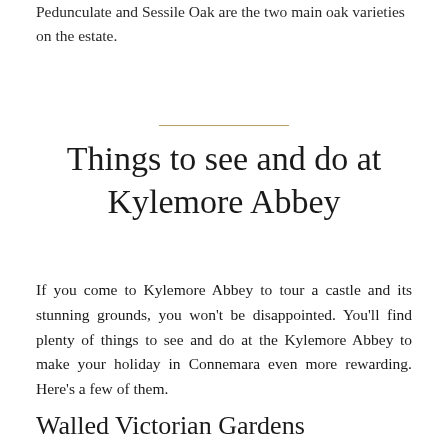Pedunculate and Sessile Oak are the two main oak varieties on the estate.
Things to see and do at Kylemore Abbey
If you come to Kylemore Abbey to tour a castle and its stunning grounds, you won't be disappointed. You'll find plenty of things to see and do at the Kylemore Abbey to make your holiday in Connemara even more rewarding. Here's a few of them.
Walled Victorian Gardens